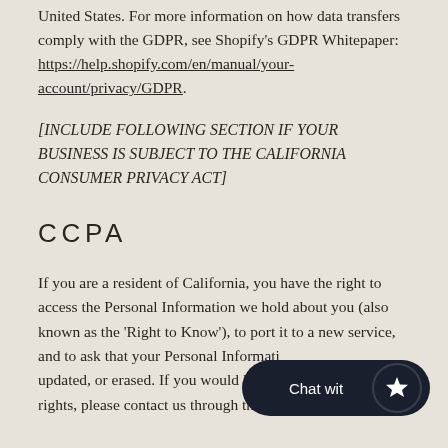United States. For more information on how data transfers comply with the GDPR, see Shopify's GDPR Whitepaper: https://help.shopify.com/en/manual/your-account/privacy/GDPR.
[INCLUDE FOLLOWING SECTION IF YOUR BUSINESS IS SUBJECT TO THE CALIFORNIA CONSUMER PRIVACY ACT]
CCPA
If you are a resident of California, you have the right to access the Personal Information we hold about you (also known as the 'Right to Know'), to port it to a new service, and to ask that your Personal Informati… updated, or erased. If you would like to… rights, please contact us through the contact information